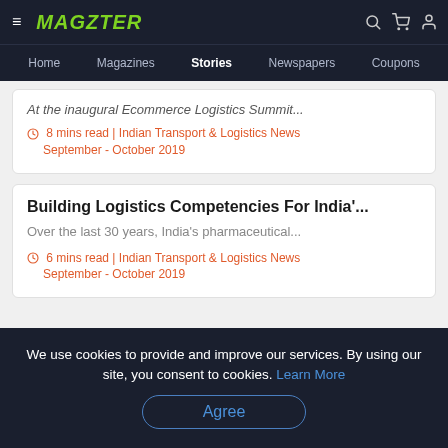MAGZTER — Home | Magazines | Stories | Newspapers | Coupons
At the inaugural Ecommerce Logistics Summit...
8 mins read | Indian Transport & Logistics News September - October 2019
Building Logistics Competencies For India'...
Over the last 30 years, India's pharmaceutical...
6 mins read | Indian Transport & Logistics News September - October 2019
We use cookies to provide and improve our services. By using our site, you consent to cookies. Learn More Agree